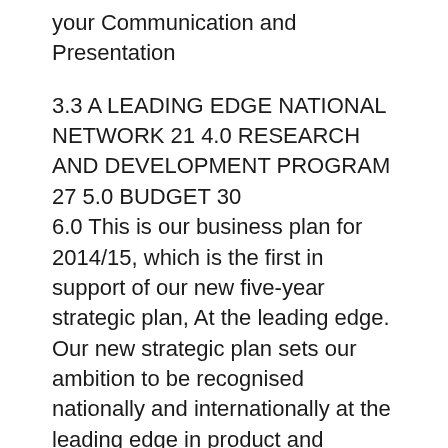your Communication and Presentation
3.3 A LEADING EDGE NATIONAL NETWORK 21 4.0 RESEARCH AND DEVELOPMENT PROGRAM 27 5.0 BUDGET 30
6.0 This is our business plan for 2014/15, which is the first in support of our new five-year strategic plan, At the leading edge. Our new strategic plan sets our ambition to be recognised nationally and internationally at the leading edge in product and service delivery and business в„¦ Amway Nutrilite Salmon Omega 3 Softgels - Amway Nutrilite Salmon Omega 3 softgels conveys an adequate measure of omega 3 unsaturated fats in each softgel. They contain an extraordinary